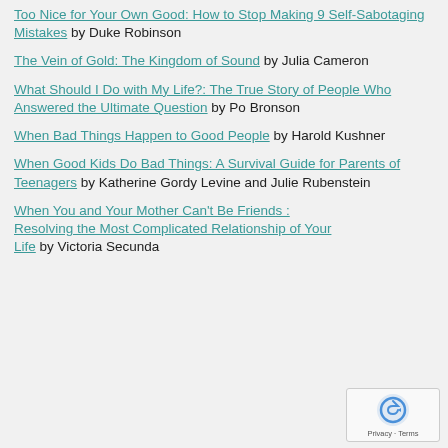Too Nice for Your Own Good: How to Stop Making 9 Self-Sabotaging Mistakes by Duke Robinson
The Vein of Gold: The Kingdom of Sound by Julia Cameron
What Should I Do with My Life?: The True Story of People Who Answered the Ultimate Question by Po Bronson
When Bad Things Happen to Good People by Harold Kushner
When Good Kids Do Bad Things: A Survival Guide for Parents of Teenagers by Katherine Gordy Levine and Julie Rubenstein
When You and Your Mother Can't Be Friends: Resolving the Most Complicated Relationship of Your Life by Victoria Secunda